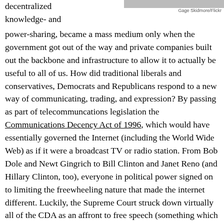[Figure (photo): Partial photo visible at top right of page, attributed to Gage Skidmore/Flickr]
Gage Skidmore/Flickr
decentralized knowledge- and power-sharing, became a mass medium only when the government got out of the way and private companies built out the backbone and infrastructure to allow it to actually be useful to all of us. How did traditional liberals and conservatives, Democrats and Republicans respond to a new way of communicating, trading, and expression? By passing as part of telecommuncations legislation the Communications Decency Act of 1996, which would have essentially governed the Internet (including the World Wide Web) as if it were a broadcast TV or radio station. From Bob Dole and Newt Gingrich to Bill Clinton and Janet Reno (and Hillary Clinton, too), everyone in political power signed on to limiting the freewheeling nature that made the internet different. Luckily, the Supreme Court struck down virtually all of the CDA as an affront to free speech (something which only libertarians, actually respect independent of particular outcomes. Indeed, liberal